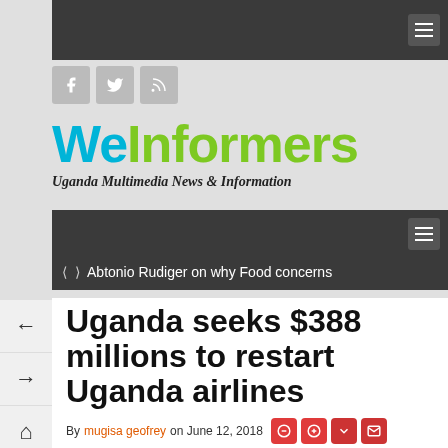WeInformers - Uganda Multimedia News & Information
[Figure (logo): WeInformers logo with tagline Uganda Multimedia News & Information]
Abtonio Rudiger on why Food concerns
Uganda seeks $388 millions to restart Uganda airlines
By mugisa geofrey on June 12, 2018
"The business plan proposes that